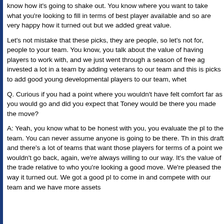know how it's going to shake out. You know where you want to take what you're looking to fill in terms of best player available and so are very happy how it turned out but we added great value.
Let's not mistake that these picks, they are people, so let's not for, people to your team. You know, you talk about the value of having players to work with, and we just went through a season of free ag invested a lot in a team by adding veterans to our team and this is picks to add good young developmental players to our team, whet
Q. Curious if you had a point where you wouldn't have felt comfort far as you would go and did you expect that Toney would be there you made the move?
A: Yeah, you know what to be honest with you, you evaluate the pl to the team. You can never assume anyone is going to be there. Th in this draft and there's a lot of teams that want those players for terms of a point we wouldn't go back, again, we're always willing to our way. It's the value of the trade relative to who you're looking a good move. We're pleased the way it turned out. We got a good pl to come in and compete with our team and we have more assets